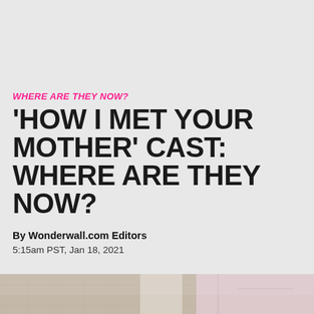WHERE ARE THEY NOW?
'HOW I MET YOUR MOTHER' CAST: WHERE ARE THEY NOW?
By Wonderwall.com Editors
5:15am PST, Jan 18, 2021
[Figure (photo): Group photo showing cast members of How I Met Your Mother, two men visible in the lower portion of the image against a stone/marble wall background]